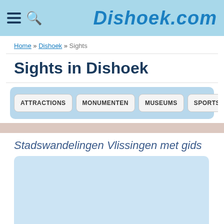Dishoek.com
Home » Dishoek » Sights
Sights in Dishoek
ATTRACTIONS
MONUMENTEN
MUSEUMS
SPORTS
Stadswandelingen Vlissingen met gids
[Figure (other): Light blue placeholder image area for Stadswandelingen Vlissingen met gids]